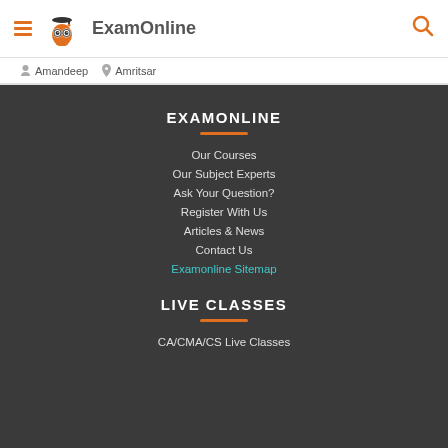ExamOnline
Amandeep  Amritsar
EXAMONLINE
Our Courses
Our Subject Experts
Ask Your Question?
Register With Us
Articles & News
Contact Us
Examonline Sitemap
LIVE CLASSES
CA/CMA/CS Live Classes